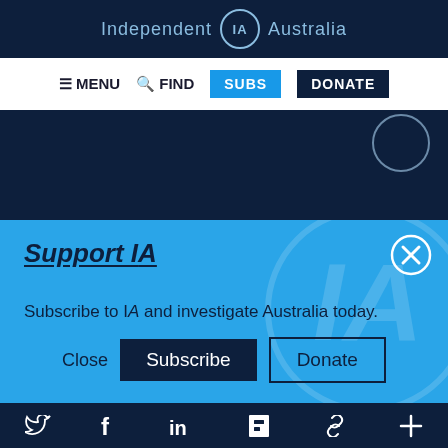Independent IA Australia
[Figure (screenshot): Navigation bar with MENU, FIND, SUBS, DONATE buttons]
[Figure (screenshot): Dark navy content area with partial circle in top right]
Support IA
Subscribe to IA and investigate Australia today.
Close  Subscribe  Donate
Twitter Facebook LinkedIn Flipboard Link Plus social icons